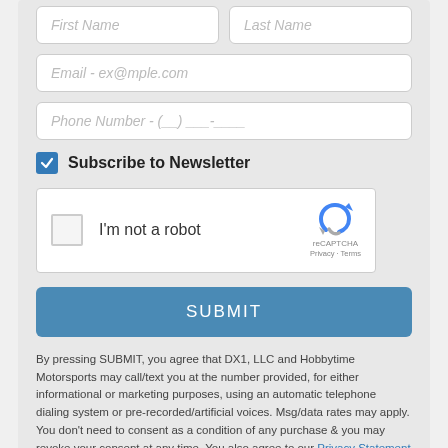[Figure (screenshot): Web form with First Name and Last Name fields (partially visible at top), Email field, Phone Number field, Subscribe to Newsletter checkbox (checked, blue), reCAPTCHA widget, SUBMIT button, and legal disclaimer text with Privacy Statement and Terms of Use links.]
By pressing SUBMIT, you agree that DX1, LLC and Hobbytime Motorsports may call/text you at the number provided, for either informational or marketing purposes, using an automatic telephone dialing system or pre-recorded/artificial voices. Msg/data rates may apply. You don't need to consent as a condition of any purchase & you may revoke your consent at any time. You also agree to our Privacy Statement & Terms of Use.
THE ULTIMATE UTILITY SIDE-BY-SIDE